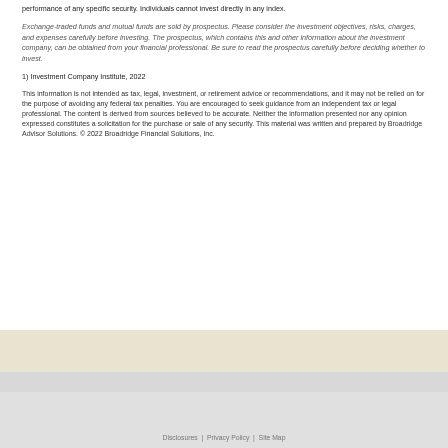performance of any specific security. Individuals cannot invest directly in any index.
Exchange-traded funds and mutual funds are sold by prospectus. Please consider the investment objectives, risks, charges, and expenses carefully before investing. The prospectus, which contains this and other information about the investment company, can be obtained from your financial professional. Be sure to read the prospectus carefully before deciding whether to invest.
1) Investment Company Institute, 2022
This information is not intended as tax, legal, investment, or retirement advice or recommendations, and it may not be relied on for the purpose of avoiding any federal tax penalties. You are encouraged to seek guidance from an independent tax or legal professional. The content is derived from sources believed to be accurate. Neither the information presented nor any opinion expressed constitutes a solicitation for the purchase or sale of any security. This material was written and prepared by Broadridge Advisor Solutions. © 2022 Broadridge Financial Solutions, Inc.
Disclosures | Privacy Policy | Site Map